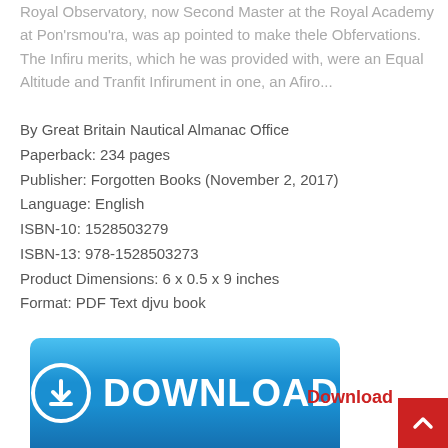Royal Observatory, now Second Master at the Royal Academy at Pon'rsmou'ra, was ap pointed to make thele Obfervations. The Infiru merits, which he was provided with, were an Equal Altitude and Tranfit Infirument in one, an Afiro...
By Great Britain Nautical Almanac Office
Paperback: 234 pages
Publisher: Forgotten Books (November 2, 2017)
Language: English
ISBN-10: 1528503279
ISBN-13: 978-1528503273
Product Dimensions: 6 x 0.5 x 9 inches
Format: PDF Text djvu book
[Figure (other): Blue download button with download icon (circle with downward arrow) and text DOWNLOAD in white, plus a red Download link text and red scroll-to-top button]